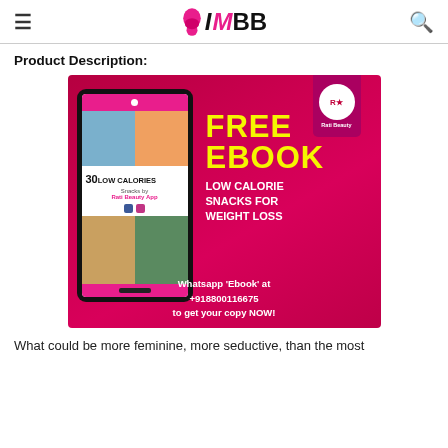IMBB
Product Description:
[Figure (infographic): Promotional advertisement image on a crimson/dark pink background featuring an ebook device mockup on the left showing '30 LOW CALORIES Snacks by Rati Beauty App' with food images. On the right bold yellow text reads FREE EBOOK, below in white LOW CALORIE SNACKS FOR WEIGHT LOSS. At the bottom: Whatsapp 'Ebook' at +918800116675 to get your copy NOW! A Rati Beauty logo tag appears at top right.]
What could be more feminine, more seductive, than the most